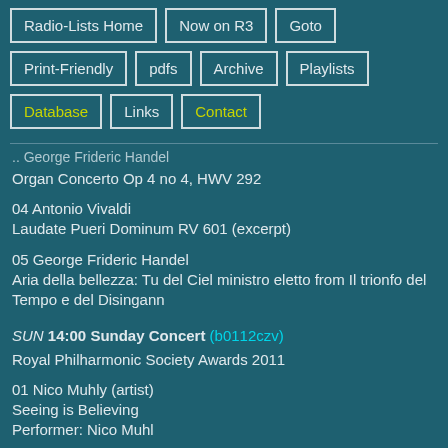Radio-Lists Home
Now on R3
Goto
Print-Friendly
pdfs
Archive
Playlists
Database
Links
Contact
...George Frideric Handel
Organ Concerto Op 4 no 4, HWV 292
04 Antonio Vivaldi
Laudate Pueri Dominum RV 601 (excerpt)
05 George Frideric Handel
Aria della bellezza: Tu del Ciel ministro eletto from Il trionfo del Tempo e del Disingann
SUN 14:00 Sunday Concert (b0112czv)
Royal Philharmonic Society Awards 2011
01 Nico Muhly (artist)
Seeing is Believing
Performer: Nico Muhly